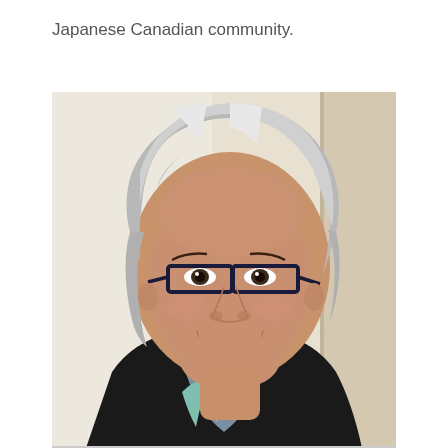Japanese Canadian community.
[Figure (photo): Portrait photo of a smiling middle-aged woman with short silver-grey hair, wearing dark rectangular glasses, a black jacket, and a blue-grey scarf. She is photographed against a light beige/cream background.]